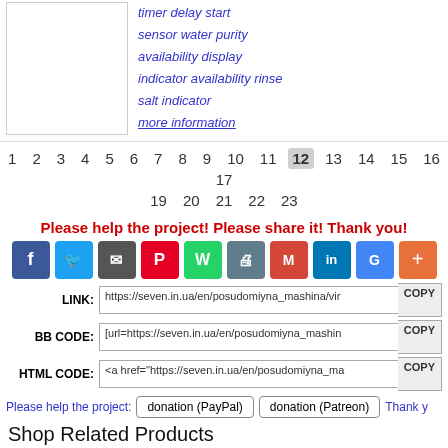timer delay start
sensor water purity
availability display
indicator availability rinse
salt indicator
more information
1 2 3 4 5 6 7 8 9 10 11 12 13 14 15 16 17 19 20 21 22 23
Please help the project! Please share it! Thank you!
[Figure (infographic): Social share buttons: Facebook, Twitter, Email, Pinterest, WhatsApp, Print, Gmail, LinkedIn, Google, Plus]
LINK: https://seven.in.ua/en/posudomiyna_mashina/vir...   COPY
BB CODE: [url=https://seven.in.ua/en/posudomiyna_mashina...   COPY
HTML CODE: <a href="https://seven.in.ua/en/posudomiyna_ma...   COPY
Please help the project:  donation (PayPal)  donation (Patreon)  Thank y...
Shop Related Products
[Figure (photo): Three product images: kitchen appliance, smartphone/tablet, dishwasher]